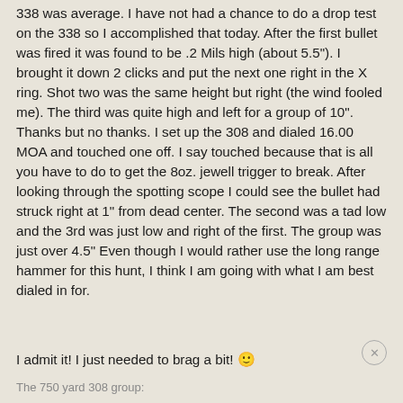338 was average. I have not had a chance to do a drop test on the 338 so I accomplished that today. After the first bullet was fired it was found to be .2 Mils high (about 5.5"). I brought it down 2 clicks and put the next one right in the X ring. Shot two was the same height but right (the wind fooled me). The third was quite high and left for a group of 10". Thanks but no thanks. I set up the 308 and dialed 16.00 MOA and touched one off. I say touched because that is all you have to do to get the 8oz. jewell trigger to break. After looking through the spotting scope I could see the bullet had struck right at 1" from dead center. The second was a tad low and the 3rd was just low and right of the first. The group was just over 4.5" Even though I would rather use the long range hammer for this hunt, I think I am going with what I am best dialed in for.
I admit it! I just needed to brag a bit! 🙂
The 750 yard 308 group: